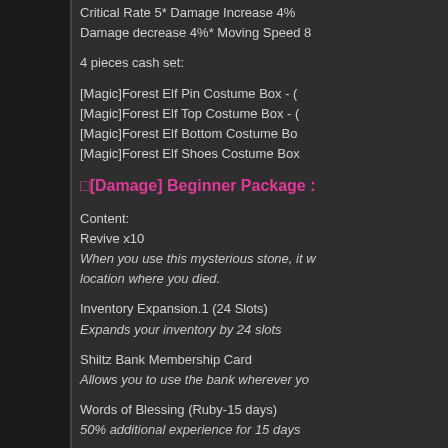Critical Rate 5* Damage Increase 4% Damage decrease 4%* Moving Speed 8
4 pieces cash set:
[Magic]Forest Elf Pin Costume Box - (
[Magic]Forest Elf Top Costume Box - (
[Magic]Forest Elf Bottom Costume Box
[Magic]Forest Elf Shoes Costume Box
[Damage] Beginner Package :
Content:
Revive x10
When you use this mysterious stone, it will revive you at the location where you died.
Inventory Expansion.1 (24 Slots)
Expands your inventory by 24 slots
Shiltz Bank Membership Card
Allows you to use the bank wherever you
Words of Blessing (Ruby-15 days)
50% additional experience for 15 days
Beginner's Elegant Flower Carriage Ri
Mount that can be used with any pet. In